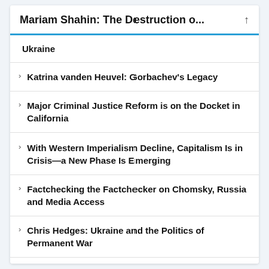Mariam Shahin: The Destruction o...
Ukraine
Katrina vanden Heuvel: Gorbachev's Legacy
Major Criminal Justice Reform is on the Docket in California
With Western Imperialism Decline, Capitalism Is in Crisis—a New Phase Is Emerging
Factchecking the Factchecker on Chomsky, Russia and Media Access
Chris Hedges: Ukraine and the Politics of Permanent War
Medea Benjamin & Jodie Evans: What Killed America's Peace Movement?